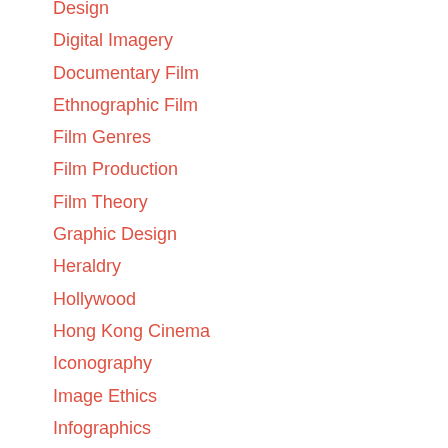Design
Digital Imagery
Documentary Film
Ethnographic Film
Film Genres
Film Production
Film Theory
Graphic Design
Heraldry
Hollywood
Hong Kong Cinema
Iconography
Image Ethics
Infographics
Visual Design of Magazine
Mask
Metaphor
Metonymy